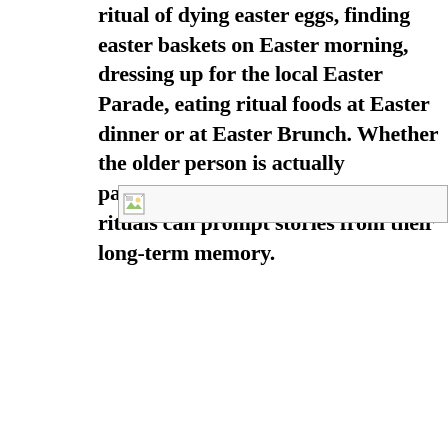ritual of dying easter eggs, finding easter baskets on Easter morning, dressing up for the local Easter Parade, eating ritual foods at Easter dinner or at Easter Brunch. Whether the older person is actually participating or watching, these rituals can prompt stories from their long-term memory.
[Figure (photo): Broken/missing image placeholder icon]